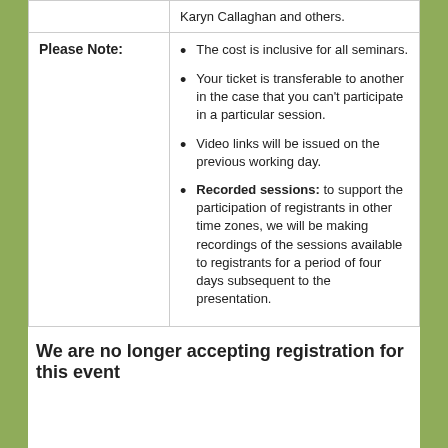|  |  |
| --- | --- |
|  | Karyn Callaghan and others. |
| Please Note: | • The cost is inclusive for all seminars.
• Your ticket is transferable to another in the case that you can't participate in a particular session.
• Video links will be issued on the previous working day.
• Recorded sessions: to support the participation of registrants in other time zones, we will be making recordings of the sessions available to registrants for a period of four days subsequent to the presentation. |
We are no longer accepting registration for this event